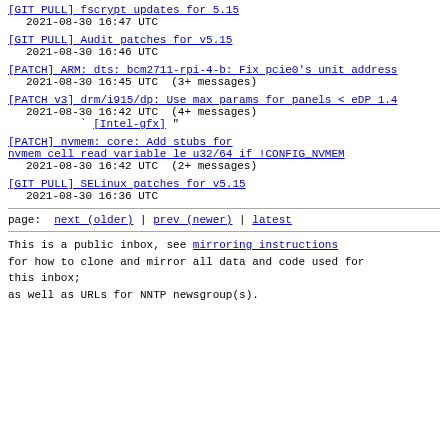[GIT PULL] fscrypt updates for 5.15
2021-08-30 16:47 UTC
[GIT PULL] Audit patches for v5.15
2021-08-30 16:46 UTC
[PATCH] ARM: dts: bcm2711-rpi-4-b: Fix pcie0's unit address
2021-08-30 16:45 UTC  (3+ messages)
[PATCH v3] drm/i915/dp: Use max params for panels < eDP 1.4
2021-08-30 16:42 UTC  (4+ messages)
` [Intel-gfx] "
[PATCH] nvmem: core: Add stubs for nvmem cell read variable le u32/64 if !CONFIG_NVMEM
2021-08-30 16:42 UTC  (2+ messages)
[GIT PULL] SELinux patches for v5.15
2021-08-30 16:36 UTC
page: next (older) | prev (newer) | latest
This is a public inbox, see mirroring instructions
for how to clone and mirror all data and code used for
this inbox;
as well as URLs for NNTP newsgroup(s).